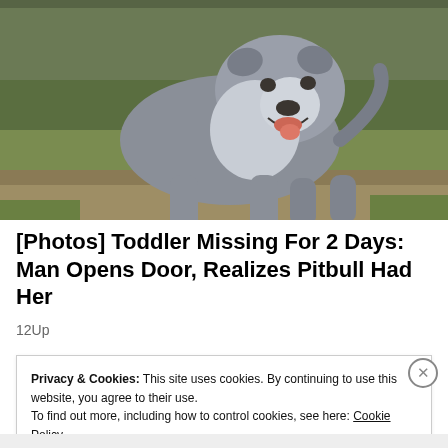[Figure (photo): A gray and white pitbull dog standing on grass, mouth open, looking forward. The dog has a muscular build with gray coloring on top and white on the chest and face.]
[Photos] Toddler Missing For 2 Days: Man Opens Door, Realizes Pitbull Had Her
12Up
Privacy & Cookies: This site uses cookies. By continuing to use this website, you agree to their use.
To find out more, including how to control cookies, see here: Cookie Policy
Close and accept